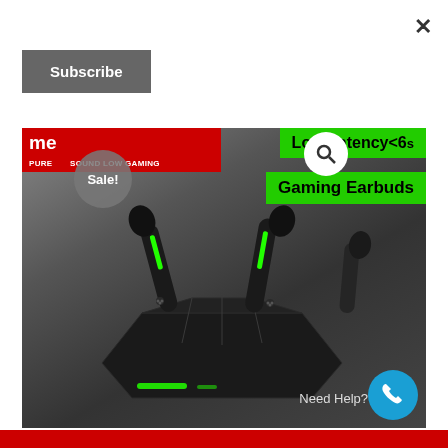×
Subscribe
[Figure (photo): Gaming earbuds (TWS) in black with green LED accents, shown outside a geometric black charging case. Red banner top-left with site name and 'Sale!' badge. Green banners top-right: 'Low Latency<6...s' and 'Gaming Earbuds'. Search icon (magnifying glass) circle. 'Need Help?' text and teal phone button bottom-right.]
Need Help?